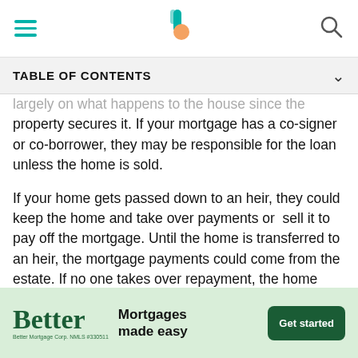TABLE OF CONTENTS
largely on what happens to the house since the property secures it. If your mortgage has a co-signer or co-borrower, they may be responsible for the loan unless the home is sold.
If your home gets passed down to an heir, they could keep the home and take over payments or sell it to pay off the mortgage. Until the home is transferred to an heir, the mortgage payments could come from the estate. If no one takes over repayment, the home could go into foreclosure.
Home Equity Loans
[Figure (screenshot): Better Mortgages advertisement banner: 'Better — Mortgages made easy — Get started' with Better Mortgage Corp NMLS #330511 disclaimer]